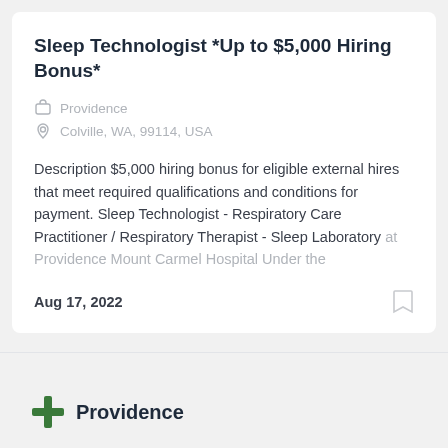Sleep Technologist *Up to $5,000 Hiring Bonus*
Providence
Colville, WA, 99114, USA
Description $5,000 hiring bonus for eligible external hires that meet required qualifications and conditions for payment. Sleep Technologist - Respiratory Care Practitioner / Respiratory Therapist - Sleep Laboratory at Providence Mount Carmel Hospital Under the
Aug 17, 2022
[Figure (logo): Providence logo with green cross and text 'Providence']